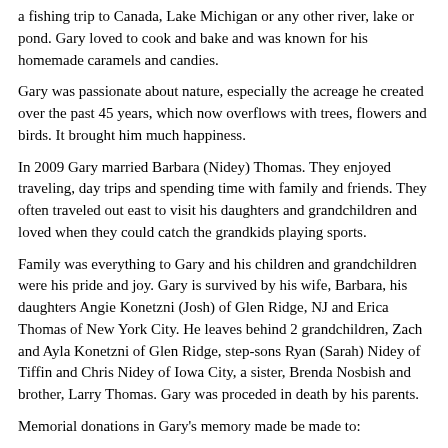a fishing trip to Canada, Lake Michigan or any other river, lake or pond.  Gary loved to cook and bake and was known for his homemade caramels and candies.
Gary was passionate about nature, especially the acreage he created over the past 45 years, which now overflows with trees, flowers and birds. It brought him much happiness.
In 2009 Gary married Barbara (Nidey) Thomas.  They enjoyed traveling, day trips and spending time with family and friends.  They often traveled out east to visit his daughters and grandchildren and loved when they could catch the grandkids playing sports.
Family was everything to Gary and his children and grandchildren were his pride and joy.  Gary is survived by his wife, Barbara, his daughters Angie Konetzni (Josh) of Glen Ridge, NJ and Erica Thomas of New York City.  He leaves behind 2 grandchildren, Zach and Ayla Konetzni of Glen Ridge, step-sons Ryan (Sarah) Nidey of Tiffin and Chris Nidey of Iowa City, a sister, Brenda Nosbish and brother, Larry Thomas.  Gary was proceded in death by his parents.
Memorial donations in Gary's memory made be made to:
Disabled American Veterans (DAV)